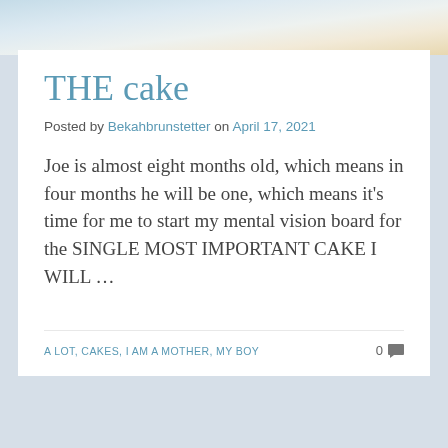[Figure (photo): Partial photo of a cake on a plate, cropped at the top of the page]
THE cake
Posted by Bekahbrunstetter on April 17, 2021
Joe is almost eight months old, which means in four months he will be one, which means it's time for me to start my mental vision board for the SINGLE MOST IMPORTANT CAKE I WILL …
A LOT, CAKES, I AM A MOTHER, MY BOY